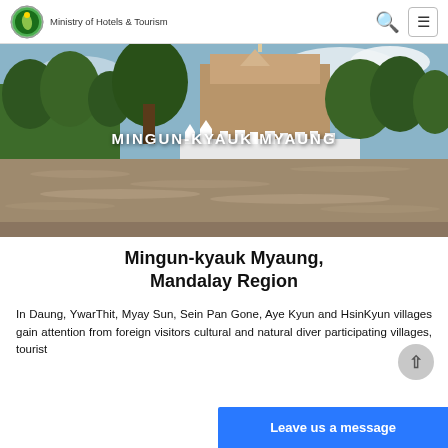Ministry of Hotels & Tourism
[Figure (photo): Scenic photo of Mingun-Kyauk Myaung showing ancient pagoda on rocky cliff, trees, white stupas along a riverbank, and wide muddy river in the foreground. White overlay text reads MINGUN-KYAUK MYAUNG.]
Mingun-kyauk Myaung, Mandalay Region
In Daung, YwarThit, Myay Sun, Sein Pan Gone, Aye Kyun and HsinKyun villages gain attention from foreign visitors cultural and natural diver participating villages, tourist